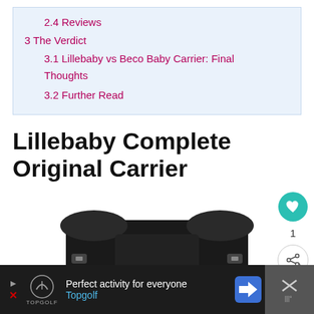2.4 Reviews
3 The Verdict
3.1 Lillebaby vs Beco Baby Carrier: Final Thoughts
3.2 Further Read
Lillebaby Complete Original Carrier
[Figure (photo): Top portion of a black Lillebaby Complete Original baby carrier shown against a white background, with heart/share action buttons on the right side]
[Figure (screenshot): Advertisement bar at the bottom: dark background with Topgolf logo and text 'Perfect activity for everyone Topgolf' with navigation arrow and close button]